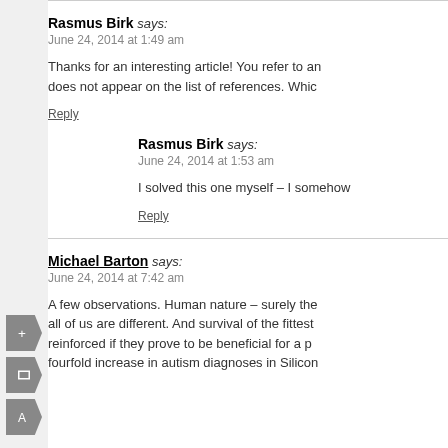Rasmus Birk says:
June 24, 2014 at 1:49 am

Thanks for an interesting article! You refer to an... does not appear on the list of references. Whic...
Reply
Rasmus Birk says:
June 24, 2014 at 1:53 am

I solved this one myself – I somehow...
Reply
Michael Barton says:
June 24, 2014 at 7:42 am

A few observations. Human nature – surely the... all of us are different. And survival of the fittest... reinforced if they prove to be beneficial for a p... fourfold increase in autism diagnoses in Silicon...